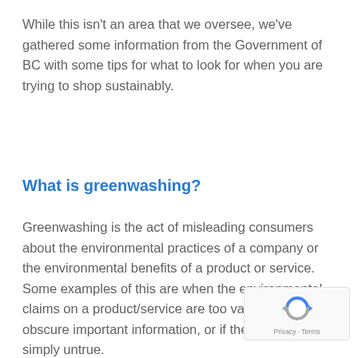While this isn't an area that we oversee, we've gathered some information from the Government of BC with some tips for what to look for when you are trying to shop sustainably.
What is greenwashing?
Greenwashing is the act of misleading consumers about the environmental practices of a company or the environmental benefits of a product or service. Some examples of this are when the environmental claims on a product/service are too vague, lack proof, obscure important information, or if the claim is simply untrue.
[Figure (logo): Google reCAPTCHA badge with Privacy and Terms links]